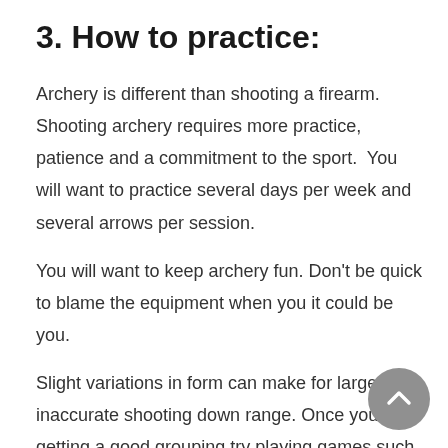3. How to practice:
Archery is different than shooting a firearm. Shooting archery requires more practice, patience and a commitment to the sport.  You will want to practice several days per week and several arrows per session.
You will want to keep archery fun. Don't be quick to blame the equipment when you it could be you.
Slight variations in form can make for large inaccurate shooting down range. Once you are getting a good grouping try playing games such as tick-tack- toe or